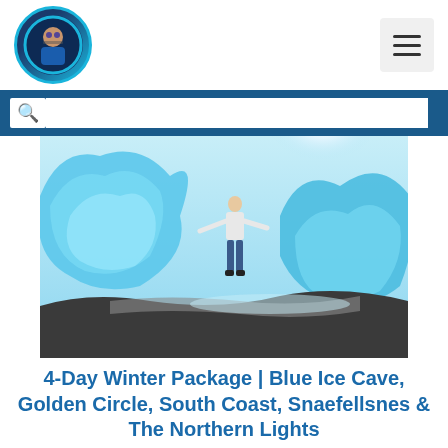Travel blog header with circular avatar logo and hamburger menu button
[Figure (other): Search bar with dark blue background and magnifying glass icon]
[Figure (photo): Person standing among large blue icebergs in Iceland, arms outstretched, bright sunlight]
4-Day Winter Package | Blue Ice Cave, Golden Circle, South Coast, Snaefellsnes & The Northern Lights